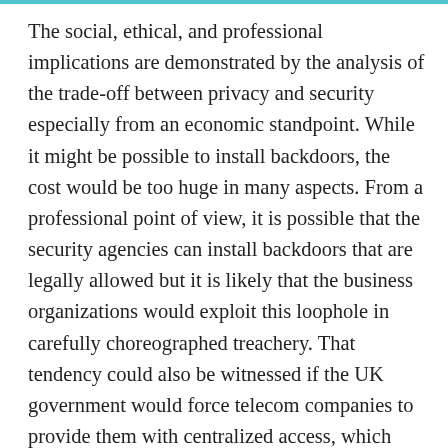The social, ethical, and professional implications are demonstrated by the analysis of the trade-off between privacy and security especially from an economic standpoint. While it might be possible to install backdoors, the cost would be too huge in many aspects. From a professional point of view, it is possible that the security agencies can install backdoors that are legally allowed but it is likely that the business organizations would exploit this loophole in carefully choreographed treachery. That tendency could also be witnessed if the UK government would force telecom companies to provide them with centralized access, which would significantly stunt innovation. Further, the social and professional implications would be noted by the stifling of innovation especially in academic research where